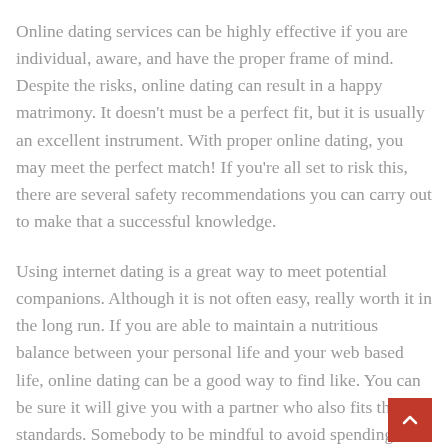Online dating services can be highly effective if you are individual, aware, and have the proper frame of mind. Despite the risks, online dating can result in a happy matrimony. It doesn't must be a perfect fit, but it is usually an excellent instrument. With proper online dating, you may meet the perfect match! If you're all set to risk this, there are several safety recommendations you can carry out to make that a successful knowledge.
Using internet dating is a great way to meet potential companions. Although it is not often easy, really worth it in the long run. If you are able to maintain a nutritious balance between your personal life and your web based life, online dating can be a good way to find like. You can be sure it will give you with a partner who also fits the standards. Somebody to be mindful to avoid spending too